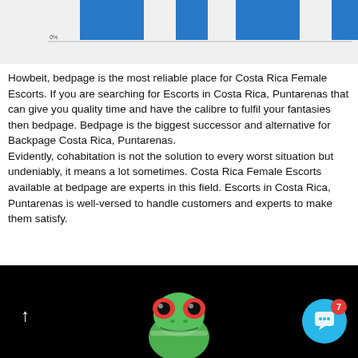[Figure (bar-chart): Partial bar chart visible at top of page, blue bars on light gray background]
Howbeit, bedpage is the most reliable place for Costa Rica Female Escorts. If you are searching for Escorts in Costa Rica, Puntarenas that can give you quality time and have the calibre to fulfil your fantasies then bedpage. Bedpage is the biggest successor and alternative for Backpage Costa Rica, Puntarenas. Evidently, cohabitation is not the solution to every worst situation but undeniably, it means a lot sometimes. Costa Rica Female Escorts available at bedpage are experts in this field. Escorts in Costa Rica, Puntarenas is well-versed to handle customers and experts to make them satisfy.
[Figure (photo): Red-eyed tree frog on black background, with chat button overlay (blue circle with smiley icon and red badge showing 7) and back arrow in lower left]